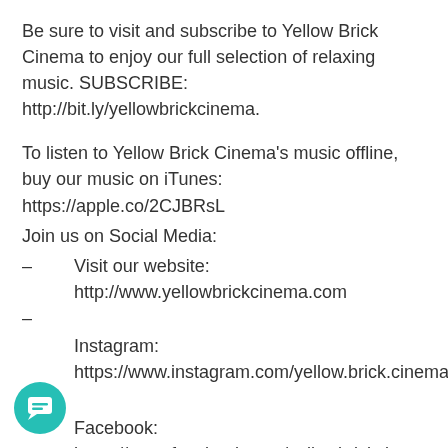Be sure to visit and subscribe to Yellow Brick Cinema to enjoy our full selection of relaxing music. SUBSCRIBE: http://bit.ly/yellowbrickcinema.
To listen to Yellow Brick Cinema's music offline, buy our music on iTunes: https://apple.co/2CJBRsL
Join us on Social Media:
– Visit our website: http://www.yellowbrickcinema.com
–
    Instagram: https://www.instagram.com/yellow.brick.cinema
–
    Facebook: https://www.facebook.com/yellowbrickcinema
To listen to our other relaxing music, check out the playlists on our homepage: http://bit.ly/yellowbrickcinema.